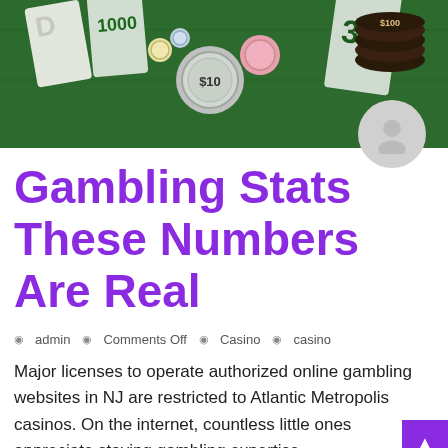[Figure (photo): Casino chips and cards on a green felt table, including a $10 chip and a $100 chip]
Gambling Stats These Numbers Are Real
admin  Comments Off  Casino  casino
Major licenses to operate authorized online gambling websites in NJ are restricted to Atlantic Metropolis casinos. On the internet, countless little ones appreciate staying gambling expertise